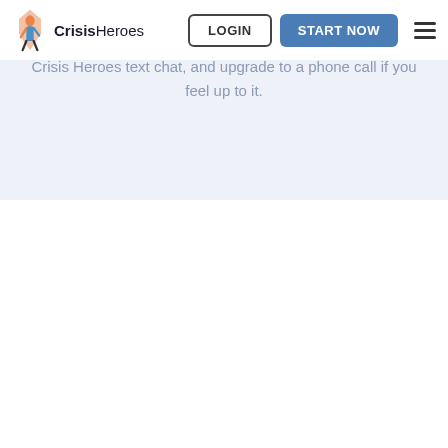CrisisHeroes | LOGIN | START NOW
Crisis Heroes text chat, and upgrade to a phone call if you feel up to it.